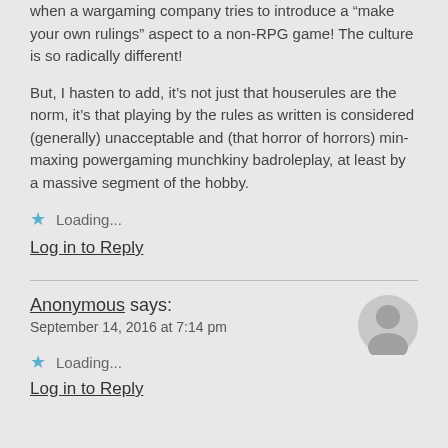when a wargaming company tries to introduce a “make your own rulings” aspect to a non-RPG game! The culture is so radically different!
But, I hasten to add, it’s not just that houserules are the norm, it’s that playing by the rules as written is considered (generally) unacceptable and (that horror of horrors) min-maxing powergaming munchkiny badroleplay, at least by a massive segment of the hobby.
Loading...
Log in to Reply
Anonymous says:
September 14, 2016 at 7:14 pm
Loading...
Log in to Reply